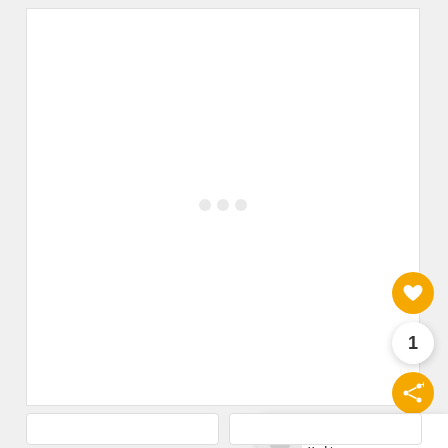[Figure (screenshot): Mostly blank white content area representing a webpage screenshot with faint watermark dots in the center]
[Figure (infographic): Yellow circular heart/favorite button with white heart icon]
1
[Figure (infographic): Yellow circular share button with share icon and plus symbol]
[Figure (screenshot): What's Next card showing thumbnail and text: WHAT'S NEXT → 15 Best Hashtag...]